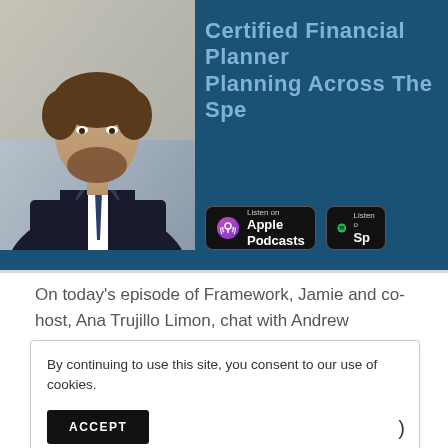[Figure (photo): Headshot of a man in a dark suit with a beard, smiling, on a teal/dark blue banner background]
Certified Financial Planner Planning Across The Spe[ctrum]
[Figure (logo): Listen on Apple Podcasts badge - black rounded rectangle with purple podcast icon]
[Figure (logo): Listen on Spotify badge - black rounded rectangle with Spotify green icon]
On today's episode of Framework, Jamie and co-host, Ana Trujillo Limon, chat with Andrew Komarow, CEO and Founder of Planning Across the Spectrum.
Having been diagnosed with Autism Spectrum
By continuing to use this site, you consent to our use of cookies.
ACCEPT
advocate for autism awareness in the finance